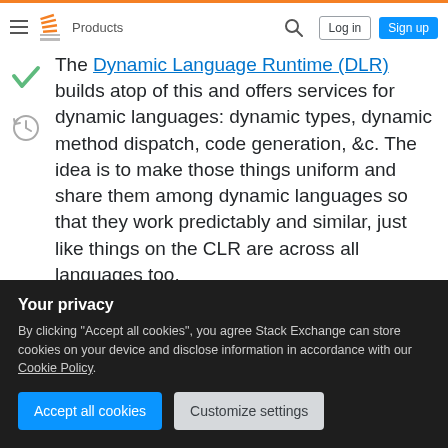Stack Overflow navigation bar with Products, Search, Log in, Sign up
The Dynamic Language Runtime (DLR) builds atop of this and offers services for dynamic languages: dynamic types, dynamic method dispatch, code generation, &c. The idea is to make those things uniform and share them among dynamic languages so that they work predictably and similar, just like things on the CLR are across all languages too.
In a way those are comparable, a "normal" language on .NET uses the CLR, a dynamic language should use the DLR, but will use the CLR as well. They are basic sets of functionality that the
Your privacy
By clicking "Accept all cookies", you agree Stack Exchange can store cookies on your device and disclose information in accordance with our Cookie Policy.
Accept all cookies
Customize settings